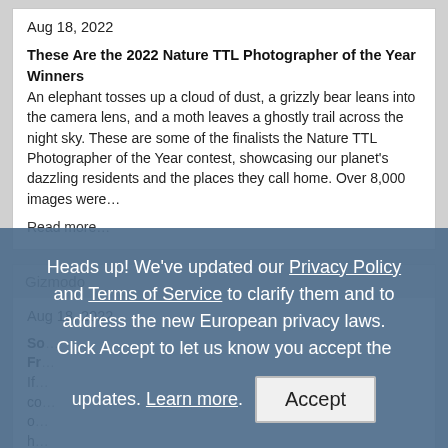Aug 18, 2022
These Are the 2022 Nature TTL Photographer of the Year Winners An elephant tosses up a cloud of dust, a grizzly bear leans into the camera lens, and a moth leaves a ghostly trail across the night sky. These are some of the finalists the Nature TTL Photographer of the Year contest, showcasing our planet's dazzling residents and the places they call home. Over 8,000 images were...
Read more...
Gizmodo
Aug 18, 2022
So... [partial article content visible]
Heads up! We've updated our Privacy Policy and Terms of Service to clarify them and to address the new European privacy laws. Click Accept to let us know you accept the updates. Learn more. Accept